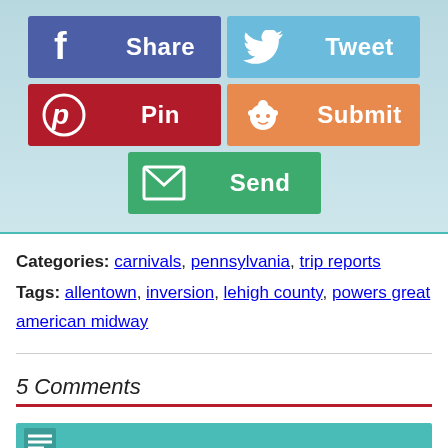[Figure (infographic): Social sharing buttons: Facebook Share (purple), Twitter Tweet (blue), Pinterest Pin (red), Reddit Submit (orange), Email Send (green)]
Categories: carnivals, pennsylvania, trip reports
Tags: allentown, inversion, lehigh county, powers great american midway
5 Comments